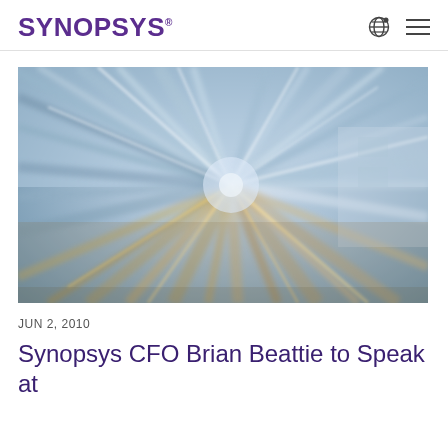SYNOPSYS
[Figure (photo): Abstract motion blur photograph of a tunnel or rail track with radial streaks of light in blues, grays, and golden tones, creating a vortex-like perspective effect.]
JUN 2, 2010
Synopsys CFO Brian Beattie to Speak at